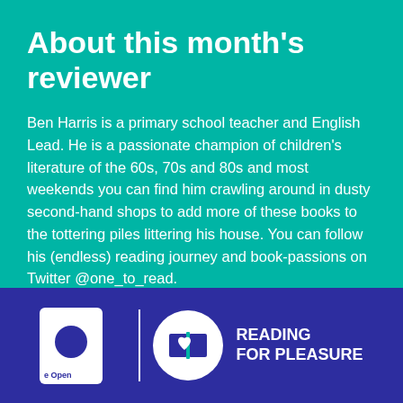About this month's reviewer
Ben Harris is a primary school teacher and English Lead. He is a passionate champion of children's literature of the 60s, 70s and 80s and most weekends you can find him crawling around in dusty second-hand shops to add more of these books to the tottering piles littering his house. You can follow his (endless) reading journey and book-passions on Twitter @one_to_read.
[Figure (logo): The Open University logo and Reading for Pleasure logo side by side on a dark blue background]